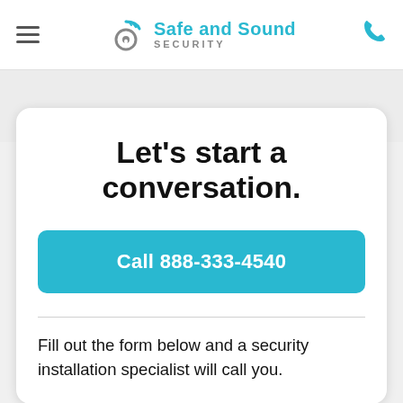Safe and Sound SECURITY
Let's start a conversation.
Call 888-333-4540
Fill out the form below and a security installation specialist will call you.